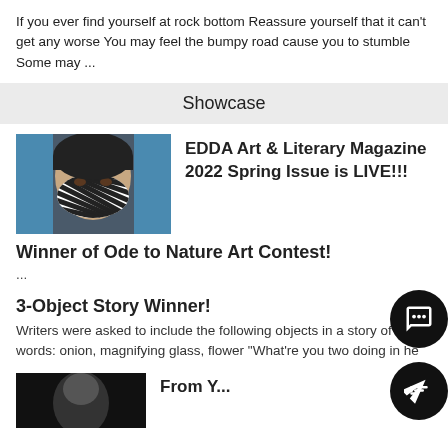If you ever find yourself at rock bottom Reassure yourself that it can't get any worse You may feel the bumpy road cause you to stumble Some may ...
Showcase
[Figure (photo): Person wearing a black and white striped mask, looking sideways]
EDDA Art & Literary Magazine 2022 Spring Issue is LIVE!!!
Winner of Ode to Nature Art Contest!
...
3-Object Story Winner!
Writers were asked to include the following objects in a story of 100 words: onion, magnifying glass, flower "What're you two doing in he
[Figure (photo): Dark portrait photo at bottom of page]
From Y...